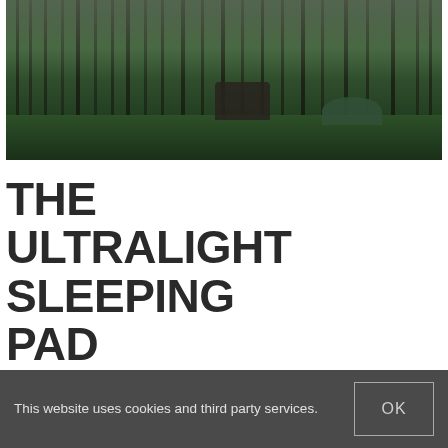[Figure (photo): A motorcycle and tent in a dark pine forest with mossy ground and misty light filtering through tall tree trunks]
THE ULTRALIGHT SLEEPING PAD
This website uses cookies and third party services.